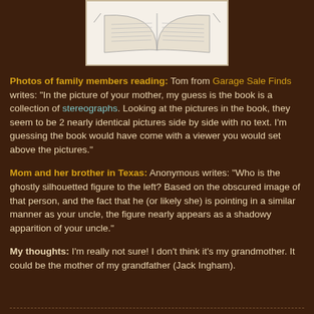[Figure (photo): A sketch or photo of an open book with pages visible, rendered in pencil/line art style, shown at the top of the page in a white/cream bordered box.]
Photos of family members reading: Tom from Garage Sale Finds writes: "In the picture of your mother, my guess is the book is a collection of stereographs. Looking at the pictures in the book, they seem to be 2 nearly identical pictures side by side with no text. I'm guessing the book would have come with a viewer you would set above the pictures."
Mom and her brother in Texas: Anonymous writes: "Who is the ghostly silhouetted figure to the left? Based on the obscured image of that person, and the fact that he (or likely she) is pointing in a similar manner as your uncle, the figure nearly appears as a shadowy apparition of your uncle."
My thoughts: I'm really not sure! I don't think it's my grandmother. It could be the mother of my grandfather (Jack Ingham).